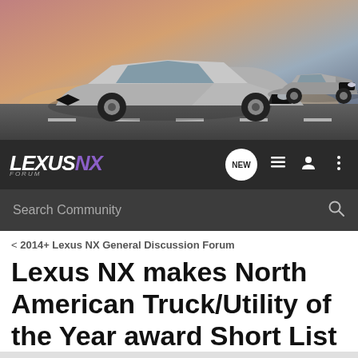[Figure (photo): Banner image showing two silver Lexus NX SUVs on a road with a colorful sunset sky background]
[Figure (logo): Lexus NX Forum logo in white and purple italic text on dark background navbar, with NEW, list, user, and menu icons]
Search Community
< 2014+ Lexus NX General Discussion Forum
Lexus NX makes North American Truck/Utility of the Year award Short List
→ Jump to Latest
+ Follow